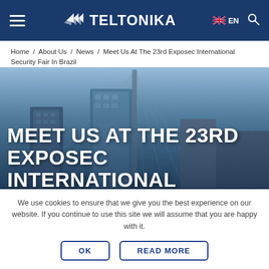TELTONIKA — Navigation header with hamburger menu, logo, EN language selector, and search icon
Home / About Us / News / Meet Us At The 23rd Exposec International Security Fair In Brazil
[Figure (photo): City skyline photo showing tall glass buildings and a cable-stayed bridge structure against a blue sky, with the Teltonika news article headline overlaid in large white uppercase text: MEET US AT THE 23RD EXPOSEC INTERNATIONAL SECURITY FAIR IN]
MEET US AT THE 23RD EXPOSEC INTERNATIONAL SECURITY FAIR IN
We use cookies to ensure that we give you the best experience on our website. If you continue to use this site we will assume that you are happy with it.